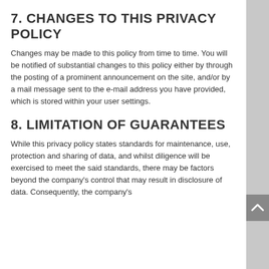7. CHANGES TO THIS PRIVACY POLICY
Changes may be made to this policy from time to time. You will be notified of substantial changes to this policy either by through the posting of a prominent announcement on the site, and/or by a mail message sent to the e-mail address you have provided, which is stored within your user settings.
8. LIMITATION OF GUARANTEES
While this privacy policy states standards for maintenance, use, protection and sharing of data, and whilst diligence will be exercised to meet the said standards, there may be factors beyond the company's control that may result in disclosure of data. Consequently, the company's